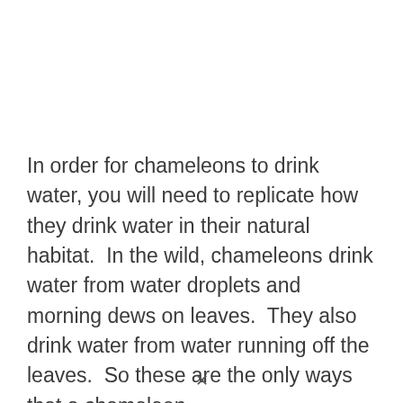In order for chameleons to drink water, you will need to replicate how they drink water in their natural habitat.  In the wild, chameleons drink water from water droplets and morning dews on leaves.  They also drink water from water running off the leaves.  So these are the only ways that a chameleon
×